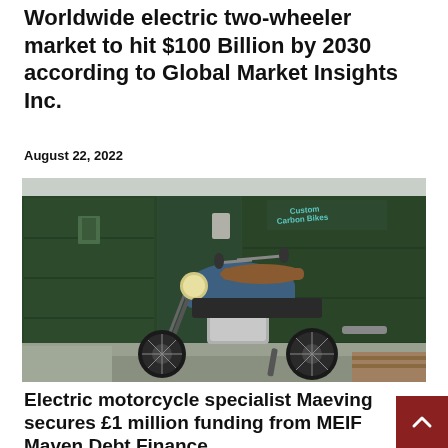Worldwide electric two-wheeler market to hit $100 Billion by 2030 according to Global Market Insights Inc.
August 22, 2022
[Figure (photo): An electric motorcycle (Maeving brand) parked in front of dark green industrial doors/containers. The motorcycle is blue with a brown leather seat and has a distinctive silver battery/frame element. The setting is an urban industrial area.]
Electric motorcycle specialist Maeving secures £1 million funding from MEIF Maven Debt Finance